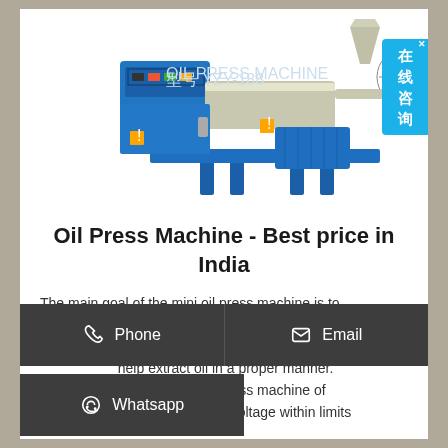[Figure (photo): Blue industrial oil press machine with control panel, hopper, pressing cylinder, and filtration unit on metal stand legs]
Oil Press Machine - Best price in India
The main goal of the mini oil press machine is to ... above. 2. Automatic systems. There are various automatic ... help extract oil in a proper manner. ... apacity of an oil press machine of small size is up to 3-6 kg/hr 4. Voltage within limits